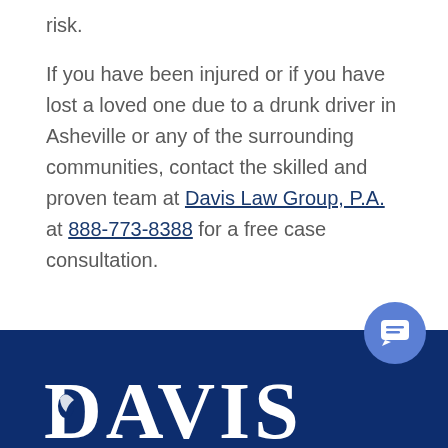risk.
If you have been injured or if you have lost a loved one due to a drunk driver in Asheville or any of the surrounding communities, contact the skilled and proven team at Davis Law Group, P.A. at 888-773-8388 for a free case consultation.
[Figure (logo): Dark navy blue footer bar with 'DAVIS' text logo in white and a blue circular chat icon]